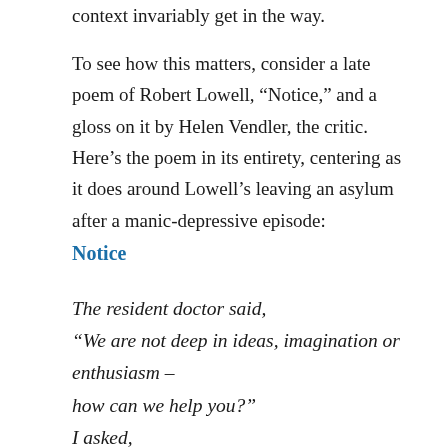context invariably get in the way.
To see how this matters, consider a late poem of Robert Lowell, “Notice,” and a gloss on it by Helen Vendler, the critic. Here’s the poem in its entirety, centering as it does around Lowell’s leaving an asylum after a manic-depressive episode:
Notice
The resident doctor said,
“We are not deep in ideas, imagination or enthusiasm –
how can we help you?”
I asked,
“These days of only poems and depression –
what can I do with them?